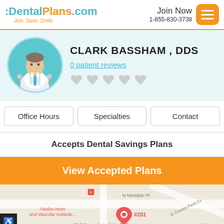DentalPlans.com Join. Save. Smile. | Join Now 1-855-830-3738
CLARK BASSHAM , DDS
0 patient reviews
Office Hours | Specialties | Contact
Accepts Dental Savings Plans
View Accepted Plans
[Figure (map): Google Maps showing location near N Meridian Pl and E Country Field Cir, with Alaska Heart and Vascular Institute and FNT Specialists of Alaska markers, and a pin at #201]